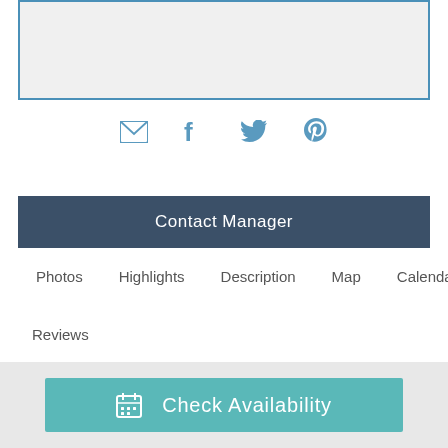[Figure (screenshot): Gray input/content box with blue border at the top of the page]
[Figure (infographic): Social sharing icons: email envelope, Facebook f, Twitter bird, Pinterest p — all in steel blue]
Contact Manager
Photos   Highlights   Description   Map   Calendar
Reviews
[Figure (screenshot): Check Availability button with calendar icon in teal color at the bottom of the page]